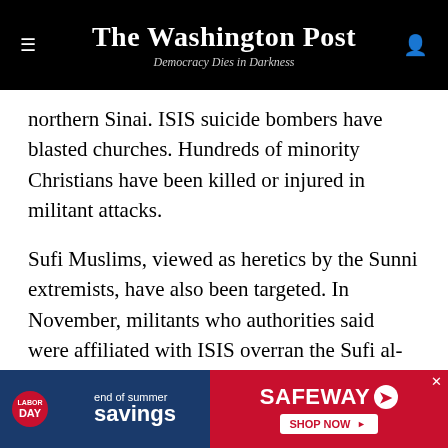The Washington Post — Democracy Dies in Darkness
northern Sinai. ISIS suicide bombers have blasted churches. Hundreds of minority Christians have been killed or injured in militant attacks.
Sufi Muslims, viewed as heretics by the Sunni extremists, have also been targeted. In November, militants who authorities said were affiliated with ISIS overran the Sufi al-Rawda mosque in the northern Sinai, killing more than 300 worshipers gathered for Friday prayers. It was the deadliest terrorist attack in Egypt's history.
[Figure (infographic): Safeway advertisement: Labor Day end of summer savings. Shop Now button on red background.]